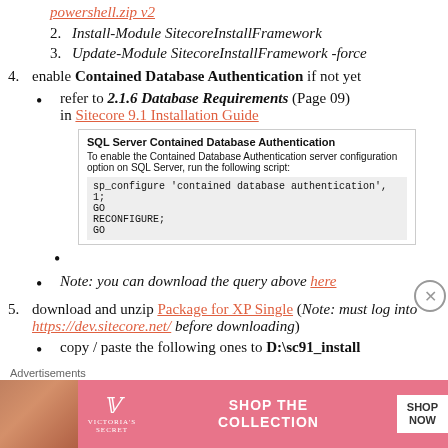powershell.zip v2 (link)
2. Install-Module SitecoreInstallFramework
3. Update-Module SitecoreInstallFramework -force
4. enable Contained Database Authentication if not yet
refer to 2.1.6 Database Requirements (Page 09) in Sitecore 9.1 Installation Guide
[Figure (screenshot): SQL Server Contained Database Authentication screenshot showing script: sp_configure 'contained database authentication', 1; GO; RECONFIGURE; GO]
Note: you can download the query above here
5. download and unzip Package for XP Single (Note: must log into https://dev.sitecore.net/ before downloading)
copy / paste the following ones to D:\sc91_install
1. Sitecore 9.1.0 rev. 001564 (OnPrem)_single.scwdp.zip
Advertisements
[Figure (photo): Victoria's Secret advertisement banner - Shop the Collection]